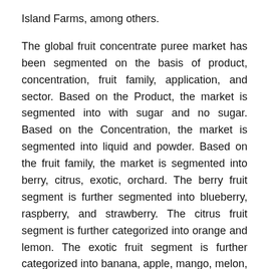Island Farms, among others.
The global fruit concentrate puree market has been segmented on the basis of product, concentration, fruit family, application, and sector. Based on the Product, the market is segmented into with sugar and no sugar. Based on the Concentration, the market is segmented into liquid and powder. Based on the fruit family, the market is segmented into berry, citrus, exotic, orchard. The berry fruit segment is further segmented into blueberry, raspberry, and strawberry. The citrus fruit segment is further categorized into orange and lemon. The exotic fruit segment is further categorized into banana, apple, mango, melon, pineapple, coconut, and tomato. The orchard fruit segment is categorized into apricot, peach, and pear. Based on the Application, the market is